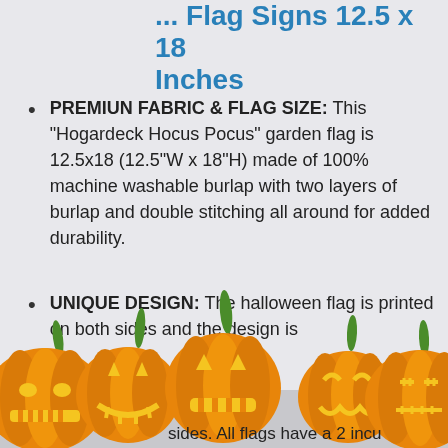... Flag Signs 12.5 x 18 Inches
PREMIUN FABRIC & FLAG SIZE: This "Hogardeck Hocus Pocus" garden flag is 12.5x18 (12.5"W x 18"H) made of 100% machine washable burlap with two layers of burlap and double stitching all around for added durability.
UNIQUE DESIGN: The halloween flag is printed on both sides and the design is ... sides. All flags have a 2 incu
[Figure (illustration): Row of five carved Halloween jack-o-lantern pumpkins with glowing yellow faces and green stems at the bottom of the page]